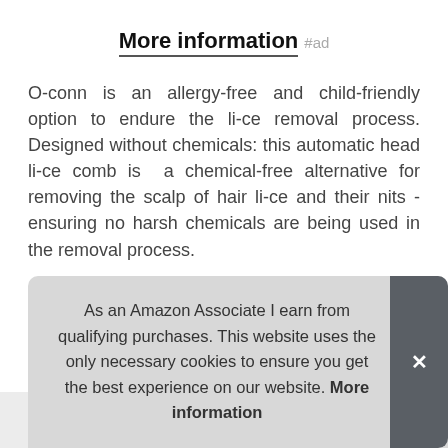More information #ad
O-conn is an allergy-free and child-friendly option to endure the li-ce removal process. Designed without chemicals: this automatic head li-ce comb is  a chemical-free alternative for removing the scalp of hair li-ce and their nits - ensuring no harsh chemicals are being used in the removal process.
Our friendly customer service team is happy to assist you with whatever questions and support you may need. Effective and durable: it can help get rid of unwanted li-ce quickly and mess-free. Li-ce free guarantee : we offer a 12-month war[ranty...] mes[sage...]
As an Amazon Associate I earn from qualifying purchases. This website uses the only necessary cookies to ensure you get the best experience on our website. More information